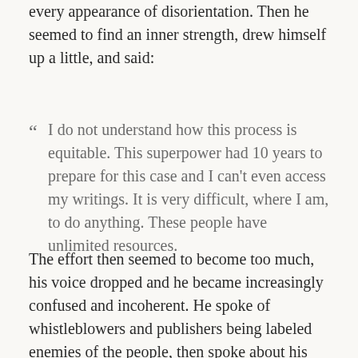every appearance of disorientation. Then he seemed to find an inner strength, drew himself up a little, and said:
“ I do not understand how this process is equitable. This superpower had 10 years to prepare for this case and I can’t even access my writings. It is very difficult, where I am, to do anything. These people have unlimited resources.
The effort then seemed to become too much, his voice dropped and he became increasingly confused and incoherent. He spoke of whistleblowers and publishers being labeled enemies of the people, then spoke about his